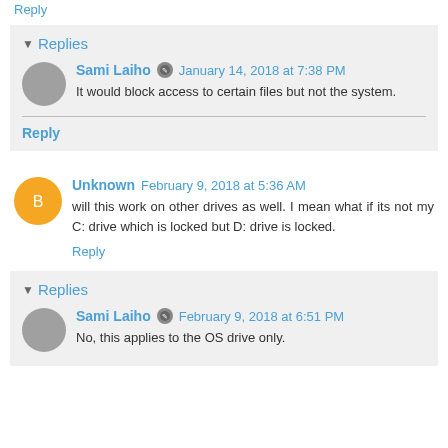Reply
Replies
Sami Laiho  January 14, 2018 at 7:38 PM
It would block access to certain files but not the system.
Reply
Unknown  February 9, 2018 at 5:36 AM
will this work on other drives as well. I mean what if its not my C: drive which is locked but D: drive is locked.
Reply
Replies
Sami Laiho  February 9, 2018 at 6:51 PM
No, this applies to the OS drive only.